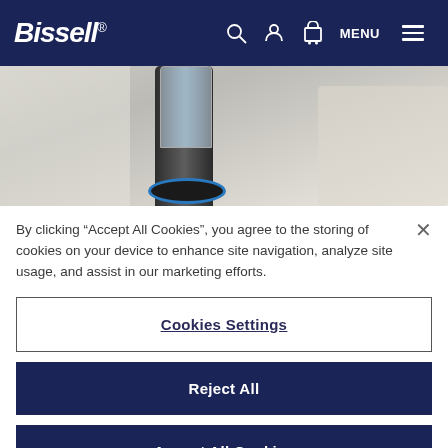[Figure (screenshot): Bissell website navigation header with dark navy background, Bissell logo in white italic text, search icon, user account icon, shopping cart icon, and MENU text with hamburger icon]
[Figure (photo): Partial product photo showing a Bissell vacuum cleaner with transparent dirt cup and blue accent ring at the base, against a light blurred background]
By clicking “Accept All Cookies”, you agree to the storing of cookies on your device to enhance site navigation, analyze site usage, and assist in our marketing efforts.
Cookies Settings
Reject All
Accept All Cookies